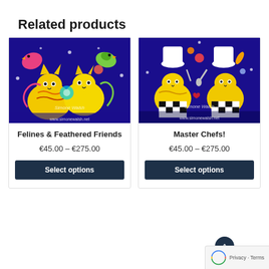Related products
[Figure (illustration): Colorful artwork of cats and birds on blue background by Simone Walsh (www.simonewalsh.net) - product image for Felines & Feathered Friends]
Felines & Feathered Friends
€45.00 – €275.00
Select options
[Figure (illustration): Colorful artwork of cats as master chefs on blue background by Simone Walsh (www.simonewalsh.net) - product image for Master Chefs!]
Master Chefs!
€45.00 – €275.00
Select options
Privacy · Terms